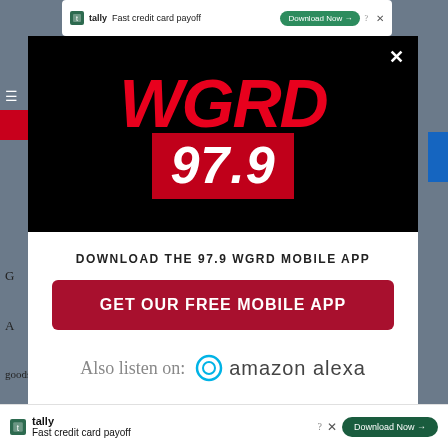[Figure (screenshot): WGRD 97.9 radio station app download modal popup. Top half is black with WGRD logo in red italic text and 97.9 in white on red background. Bottom half is white with download prompt, red button 'GET OUR FREE MOBILE APP', and Amazon Alexa listen option. Background shows blurred webpage with ad banners for Tally fast credit card payoff.]
DOWNLOAD THE 97.9 WGRD MOBILE APP
GET OUR FREE MOBILE APP
Also listen on: amazon alexa
Fast credit card payoff
Download Now